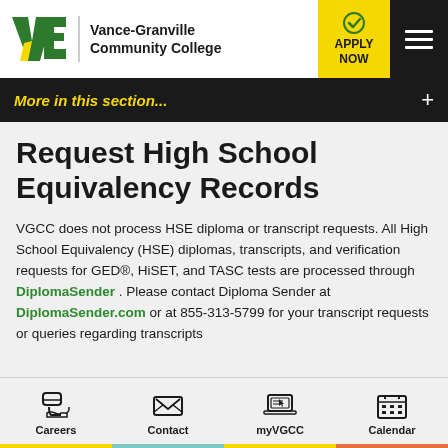[Figure (logo): Vance-Granville Community College logo with VG letters and college name]
More in this section...
Request High School Equivalency Records
VGCC does not process HSE diploma or transcript requests. All High School Equivalency (HSE) diplomas, transcripts, and verification requests for GED®, HiSET, and TASC tests are processed through DiplomaSender . Please contact Diploma Sender at DiplomaSender.com or at 855-313-5799 for your transcript requests or queries regarding transcripts
Careers | Contact | myVGCC | Calendar